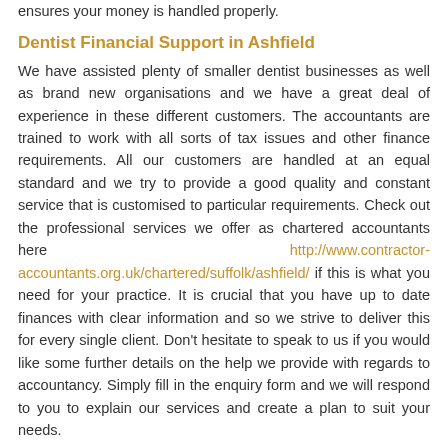ensures your money is handled properly.
Dentist Financial Support in Ashfield
We have assisted plenty of smaller dentist businesses as well as brand new organisations and we have a great deal of experience in these different customers. The accountants are trained to work with all sorts of tax issues and other finance requirements. All our customers are handled at an equal standard and we try to provide a good quality and constant service that is customised to particular requirements. Check out the professional services we offer as chartered accountants here http://www.contractor-accountants.org.uk/chartered/suffolk/ashfield/ if this is what you need for your practice. It is crucial that you have up to date finances with clear information and so we strive to deliver this for every single client. Don't hesitate to speak to us if you would like some further details on the help we provide with regards to accountancy. Simply fill in the enquiry form and we will respond to you to explain our services and create a plan to suit your needs.
Handling Your Accounts
Once per year your dentist business in Ashfield will need to